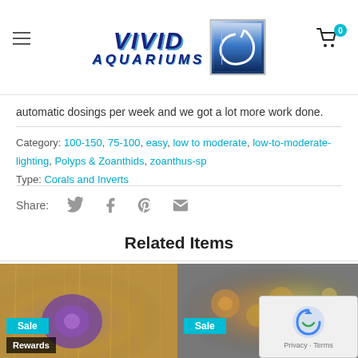Vivid Aquariums - navigation header with logo and cart
automatic dosings per week and we got a lot more work done.
Category: 100-150, 75-100, easy, low to moderate, low-to-moderate-lighting, Polyps & Zoanthids, zoanthus-sp
Type: Corals and Inverts
Share:
Related Items
[Figure (photo): Coral/zoanthid photo with Sale badge and Rewards badge]
[Figure (photo): Coral/zoanthid photo with Sale badge]